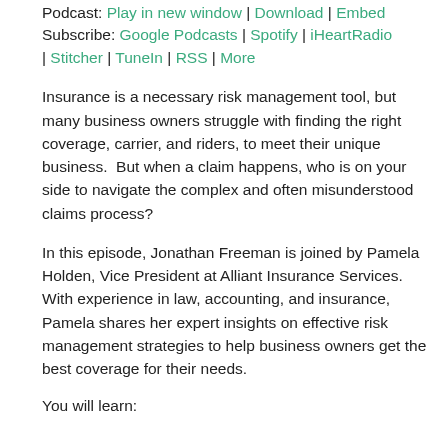Podcast: Play in new window | Download | Embed
Subscribe: Google Podcasts | Spotify | iHeartRadio | Stitcher | TuneIn | RSS | More
Insurance is a necessary risk management tool, but many business owners struggle with finding the right coverage, carrier, and riders, to meet their unique business.  But when a claim happens, who is on your side to navigate the complex and often misunderstood claims process?
In this episode, Jonathan Freeman is joined by Pamela Holden, Vice President at Alliant Insurance Services. With experience in law, accounting, and insurance, Pamela shares her expert insights on effective risk management strategies to help business owners get the best coverage for their needs.
You will learn: